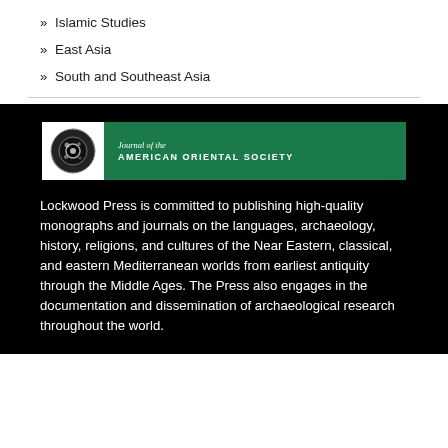» Islamic Studies
» East Asia
» South and Southeast Asia
[Figure (logo): Journal of the American Oriental Society banner with green background, circular emblem icon on left, and text 'Journal of the' in italic and 'AMERICAN ORIENTAL SOCIETY' in bold uppercase]
Lockwood Press is committed to publishing high-quality monographs and journals on the languages, archaeology, history, religions, and cultures of the Near Eastern, classical, and eastern Mediterranean worlds from earliest antiquity through the Middle Ages. The Press also engages in the documentation and dissemination of archaeological research throughout the world.